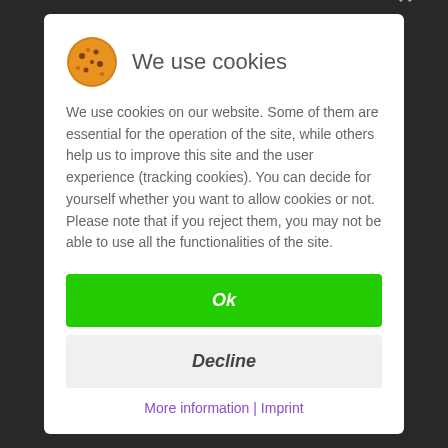We use cookies
We use cookies on our website. Some of them are essential for the operation of the site, while others help us to improve this site and the user experience (tracking cookies). You can decide for yourself whether you want to allow cookies or not. Please note that if you reject them, you may not be able to use all the functionalities of the site.
Ok
Decline
More information | Imprint